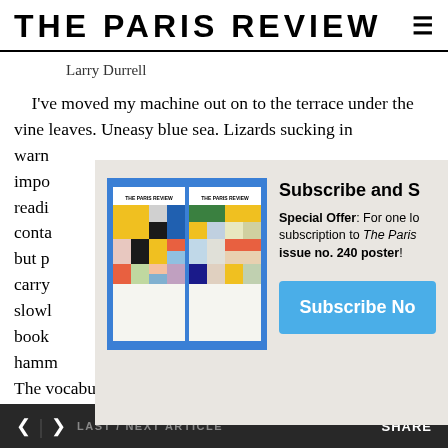THE PARIS REVIEW
Larry Durrell
I've moved my machine out on to the terrace under the vine leaves. Uneasy blue sea. Lizards sucking in warm... impo... readi... conta... but p... carry... slowl... book... hamm... The vocabulary may be Elizabethan, Middle-English,
[Figure (illustration): Subscription overlay showing two Paris Review magazine covers on a blue background, with subscribe text and button]
< > LAST / NEXT ARTICLE    SHARE